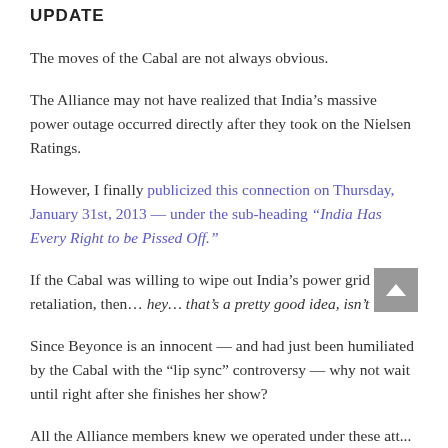UPDATE
The moves of the Cabal are not always obvious.
The Alliance may not have realized that India’s massive power outage occurred directly after they took on the Nielsen Ratings.
However, I finally publicized this connection on Thursday, January 31st, 2013 — under the sub-heading “India Has Every Right to be Pissed Off.”
If the Cabal was willing to wipe out India’s power grid as a retaliation, then… hey… that’s a pretty good idea, isn’t it?
Since Beyonce is an innocent — and had just been humiliated by the Cabal with the “lip sync” controversy — why not wait until right after she finishes her show?
All the Alliance members knew we operated under these att...